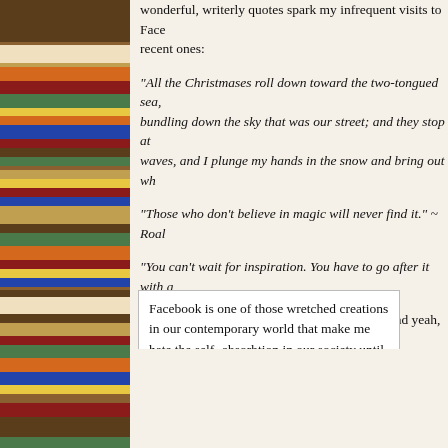[Figure (photo): Photograph of a bookshelf filled with colorful books, visible on the left side of the page]
wonderful, writerly quotes spark my infrequent visits to Face recent ones:
"All the Christmases roll down toward the two-tongued sea, bundling down the sky that was our street; and they stop at waves, and I plunge my hands in the snow and bring out wh
"Those who don't believe in magic will never find it." ~ Roal
"You can't wait for inspiration. You have to go after it with a
Yeah, he posts these quotes every day or two, and yeah, th
Facebook is one of those wretched creations in our contemporary world that make me hate the self-absorbtion in our society until I stop and get little kernels of this wonderment from awesome people and writers.  I am not a fan of the pathos or emotionalism or commercialism of this season, but give me a writer with a few choice words and a little magic, and I'm a believer.